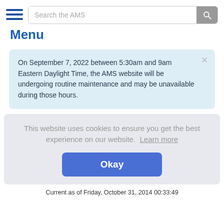Search the AMS
Menu
On September 7, 2022 between 5:30am and 9am Eastern Daylight Time, the AMS website will be undergoing routine maintenance and may be unavailable during those hours.
This website uses cookies to ensure you get the best experience on our website. Learn more
Okay
Current as of Friday, October 31, 2014 00:33:49